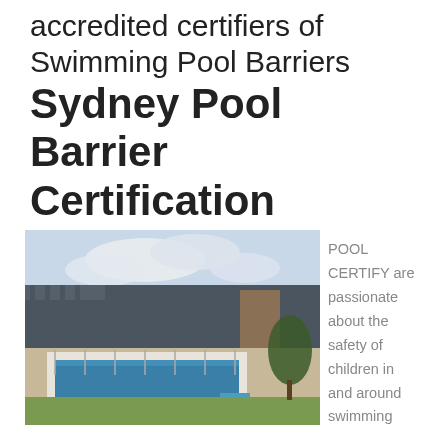accredited certifiers of Swimming Pool Barriers Sydney Pool Barrier Certification
[Figure (photo): Outdoor swimming pool with glass pool barrier fencing, white pool coping, green lawn, dark fence/wall in background, blue sky with clouds]
POOL CERTIFY are passionate about the safety of children in and around swimming